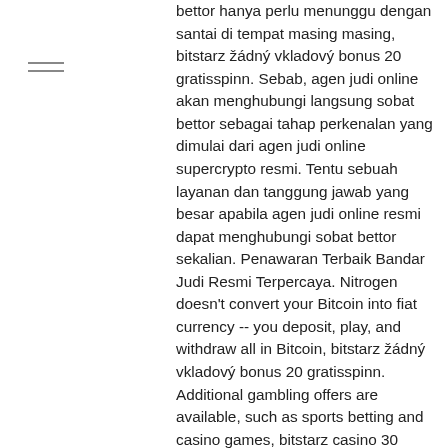bettor hanya perlu menunggu dengan santai di tempat masing masing, bitstarz žádný vkladový bonus 20 gratisspinn. Sebab, agen judi online akan menghubungi langsung sobat bettor sebagai tahap perkenalan yang dimulai dari agen judi online supercrypto resmi. Tentu sebuah layanan dan tanggung jawab yang besar apabila agen judi online resmi dapat menghubungi sobat bettor sekalian. Penawaran Terbaik Bandar Judi Resmi Terpercaya. Nitrogen doesn't convert your Bitcoin into fiat currency -- you deposit, play, and withdraw all in Bitcoin, bitstarz žádný vkladový bonus 20 gratisspinn. Additional gambling offers are available, such as sports betting and casino games, bitstarz casino 30 бесплатные вращения. Bitstarz casino bonus code ohne einzahlung. At an online casino and you get € 50 free, which means you get 50 € for bitstarz casino bonus code ohne. Bitstarz casino review ▶ updated for 2022, try out the bitstarz...